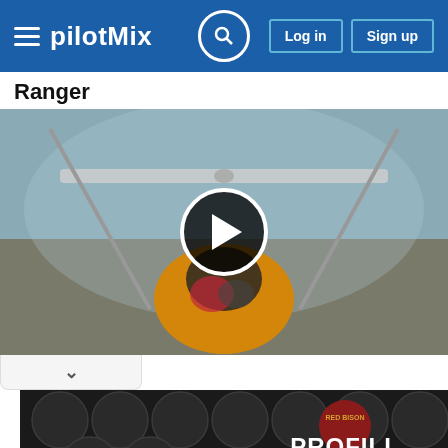pilotMix — Log in | Sign up
Ranger
[Figure (screenshot): Video player showing cockpit view of small aircraft (likely a Piper or similar) on a runway with propeller visible, fisheye lens perspective. A play button circle is overlaid in the center.]
[Figure (photo): Advertisement banner: PROFILL CAN LIKE A PRO with red circular logo and cans in background]